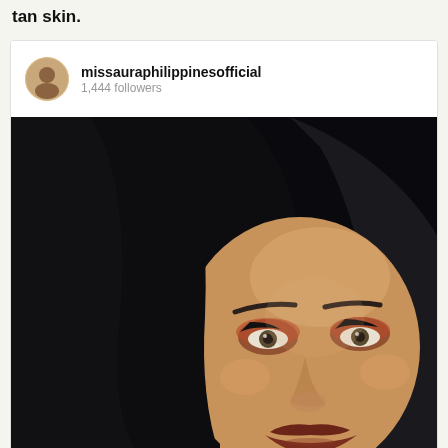tan skin.
missauraphilippinesofficial
1,444 followers
[Figure (photo): Close-up portrait of a woman with long dark hair, wearing dramatic reddish-orange eye makeup and dark lips, against a black background.]